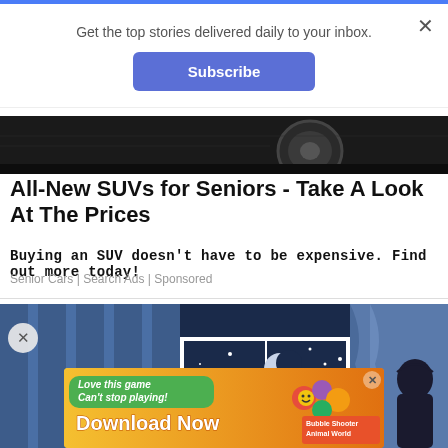Get the top stories delivered daily to your inbox.
Subscribe
[Figure (photo): Bottom portion of a dark car with tire visible on dark background]
All-New SUVs for Seniors - Take A Look At The Prices
Buying an SUV doesn't have to be expensive. Find out more today!
Senior Cars | Search Ads | Sponsored
[Figure (illustration): Animated illustration of a person looking out a window at night with moon and stars visible]
[Figure (infographic): Mobile game advertisement: Love this game Can't stop playing! Download Now - Bubble Shooter Animal World]